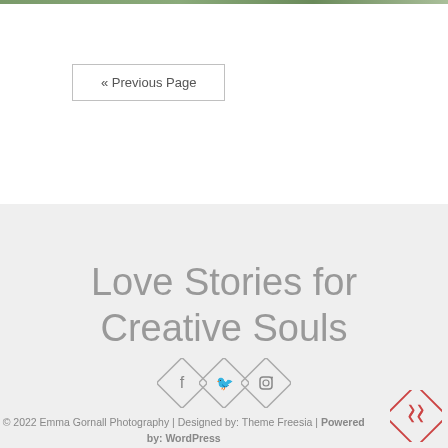[Figure (screenshot): Thin horizontal banner image strip at top of page, showing a green/nature scene]
« Previous Page
Love Stories for Creative Souls
[Figure (infographic): Three overlapping diamond-shaped social media icons: Facebook (f), Twitter (bird), Instagram (camera)]
© 2022 Emma Gornall Photography | Designed by: Theme Freesia | Powered by: WordPress